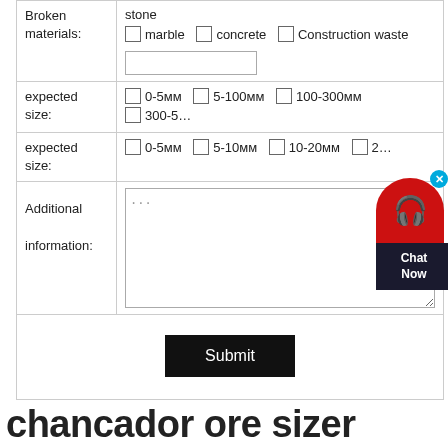| Field | Options |
| --- | --- |
| Broken materials: | stone
☐ marble  ☐ concrete  ☐ Construction waste  [text input] |
| expected size: | ☐ 0-5мм  ☐ 5-100мм  ☐ 100-300мм  ☐ 300-5... |
| expected size: | ☐ 0-5мм  ☐ 5-10мм  ☐ 10-20мм  ☐ 2... |
| Additional information: | ... [textarea] |
Submit
chancador ore sizer